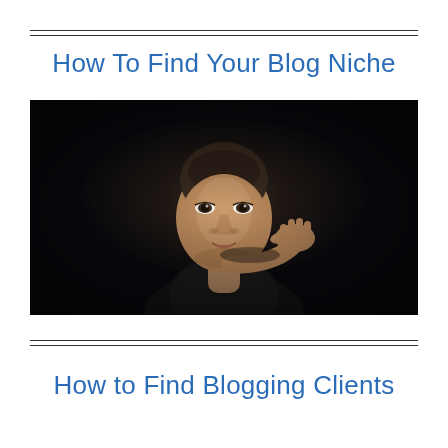How To Find Your Blog Niche
[Figure (photo): A young woman with short hair looking directly at the camera, face illuminated against a very dark background, resting chin on hand in a contemplative pose.]
How to Find Blogging Clients